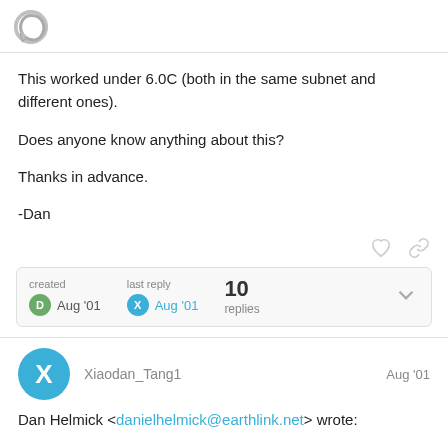Discourse forum header with logo
This worked under 6.0C (both in the same subnet and different ones).

Does anyone know anything about this?

Thanks in advance.

-Dan
created Aug '01  last reply Aug '01  10 replies
Xiaodan_Tang1  Aug '01
Dan Helmick <danielhelmick@earthlink.net> wrote: